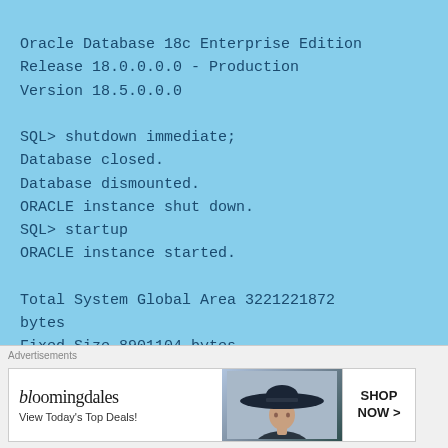Oracle Database 18c Enterprise Edition
Release 18.0.0.0.0 - Production
Version 18.5.0.0.0

SQL> shutdown immediate;
Database closed.
Database dismounted.
ORACLE instance shut down.
SQL> startup
ORACLE instance started.

Total System Global Area 3221221872 bytes
Fixed Size 8901104 bytes
Variable Size 805306368 bytes
Database Buffers 2399141888 bytes
Redo Buffers 7872512 bytes
[Figure (screenshot): Advertisement banner for Bloomingdale's with text 'View Today's Top Deals!' and 'SHOP NOW >' button, featuring a woman wearing a wide-brim hat.]